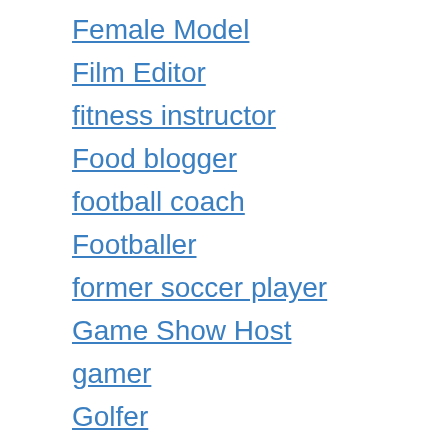Female Model
Film Editor
fitness instructor
Food blogger
football coach
Footballer
former soccer player
Game Show Host
gamer
Golfer
gym trainer
hip hop artist
Horse Trainer